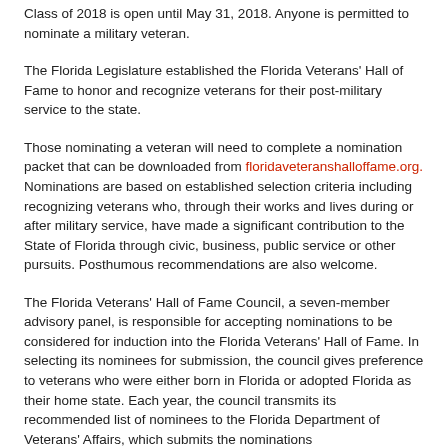Class of 2018 is open until May 31, 2018. Anyone is permitted to nominate a military veteran.
The Florida Legislature established the Florida Veterans' Hall of Fame to honor and recognize veterans for their post-military service to the state.
Those nominating a veteran will need to complete a nomination packet that can be downloaded from floridaveteranshalloffame.org. Nominations are based on established selection criteria including recognizing veterans who, through their works and lives during or after military service, have made a significant contribution to the State of Florida through civic, business, public service or other pursuits. Posthumous recommendations are also welcome.
The Florida Veterans' Hall of Fame Council, a seven-member advisory panel, is responsible for accepting nominations to be considered for induction into the Florida Veterans' Hall of Fame. In selecting its nominees for submission, the council gives preference to veterans who were either born in Florida or adopted Florida as their home state. Each year, the council transmits its recommended list of nominees to the Florida Department of Veterans' Affairs, which submits the nominations